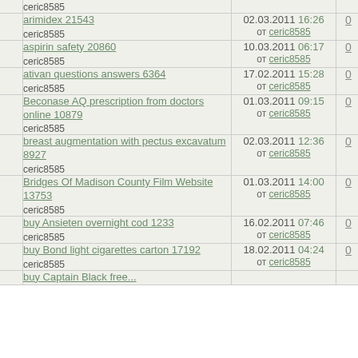|  | Topic | Date | Count |
| --- | --- | --- | --- |
|  | ceric8585 |  |  |
|  | arimidex 21543
ceric8585 | 02.03.2011 16:26 от ceric8585 | 0 |
|  | aspirin safety 20860
ceric8585 | 10.03.2011 06:17 от ceric8585 | 0 |
|  | ativan questions answers 6364
ceric8585 | 17.02.2011 15:28 от ceric8585 | 0 |
|  | Beconase AQ prescription from doctors online 10879
ceric8585 | 01.03.2011 09:15 от ceric8585 | 0 |
|  | breast augmentation with pectus excavatum 8927
ceric8585 | 02.03.2011 12:36 от ceric8585 | 0 |
|  | Bridges Of Madison County Film Website 13753
ceric8585 | 01.03.2011 14:00 от ceric8585 | 0 |
|  | buy Ansieten overnight cod 1233
ceric8585 | 16.02.2011 07:46 от ceric8585 | 0 |
|  | buy Bond light cigarettes carton 17192
ceric8585 | 18.02.2011 04:24 от ceric8585 | 0 |
|  | buy Captain Black free... |  |  |